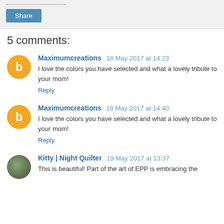[Figure (other): Share button area with dotted line above and a blue Share button]
5 comments:
Maximumcreations 18 May 2017 at 14:23
I love the colors you have selected and what a lovely tribute to your mom!
Reply
Maximumcreations 18 May 2017 at 14:40
I love the colors you have selected and what a lovely tribute to your mom!
Reply
Kitty | Night Quilter 19 May 2017 at 13:37
This is beautiful! Part of the art of EPP is embracing the